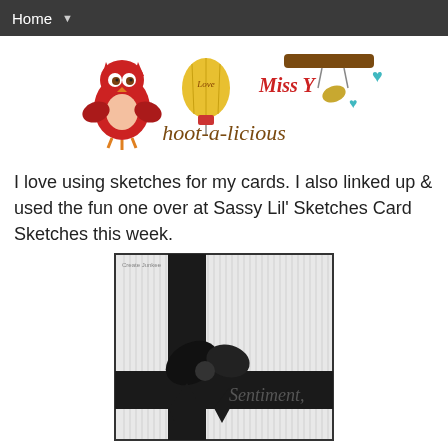Home ▼
[Figure (illustration): hoot-a-licious blog logo with cartoon owls, hearts, a balloon, and decorative text]
I love using sketches for my cards. I also linked up & used the fun one over at Sassy Lil' Sketches Card Sketches this week.
[Figure (illustration): Card sketch showing a gift-wrapped card with a black bow and ribbon, script text reading 'Sentiment,' on a striped background. Small watermark text reads 'Create Junkee' in top left.]
Here's how you can play along with Etsy Inspired: